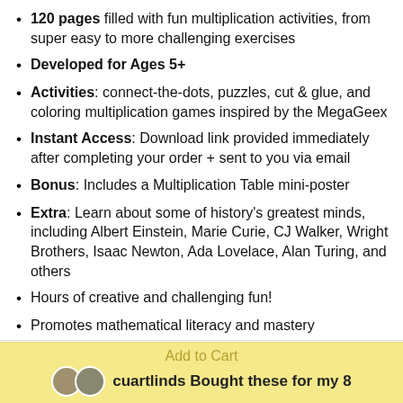120 pages filled with fun multiplication activities, from super easy to more challenging exercises
Developed for Ages 5+
Activities: connect-the-dots, puzzles, cut & glue, and coloring multiplication games inspired by the MegaGeex
Instant Access: Download link provided immediately after completing your order + sent to you via email
Bonus: Includes a Multiplication Table mini-poster
Extra: Learn about some of history's greatest minds, including Albert Einstein, Marie Curie, CJ Walker, Wright Brothers, Isaac Newton, Ada Lovelace, Alan Turing, and others
Hours of creative and challenging fun!
Promotes mathematical literacy and mastery
Add to Cart
cuartlinds Bought these for my 8